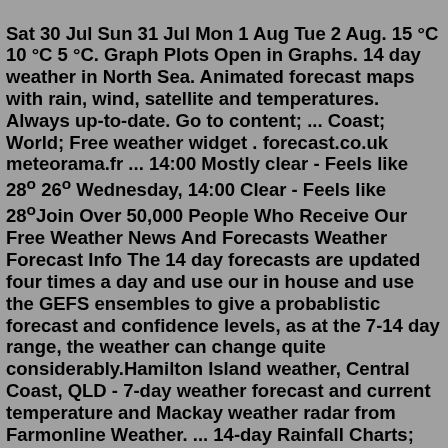Sat 30 Jul Sun 31 Jul Mon 1 Aug Tue 2 Aug. 15 °C 10 °C 5 °C. Graph Plots Open in Graphs. 14 day weather in North Sea. Animated forecast maps with rain, wind, satellite and temperatures. Always up-to-date. Go to content; ... Coast; World; Free weather widget . forecast.co.uk meteorama.fr ... 14:00 Mostly clear - Feels like 28º 26º Wednesday, 14:00 Clear - Feels like 28ºJoin Over 50,000 People Who Receive Our Free Weather News And Forecasts Weather Forecast Info The 14 day forecasts are updated four times a day and use our in house and use the GEFS ensembles to give a probablistic forecast and confidence levels, as at the 7-14 day range, the weather can change quite considerably.Hamilton Island weather, Central Coast, QLD - 7-day weather forecast and current temperature and Mackay weather radar from Farmonline Weather. ... 14-day Rainfall Charts; 28-day rainfall forecast; 12-month rainfall forecast; CLIMATE. ... 7-DAY WEATHER FORECAST: HAMILTON ISLAND 28 DAY RAINFALL FORECAST: CLICK HERE. THU Jul 28 FRI Jul 29